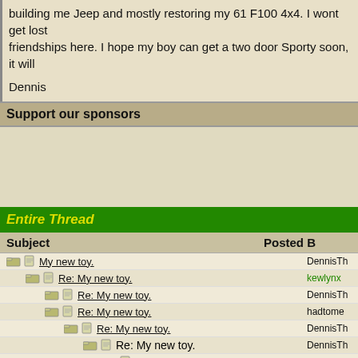building me Jeep and mostly restoring my 61 F100 4x4. I wont get lost friendships here. I hope my boy can get a two door Sporty soon, it will
Dennis
Support our sponsors
Entire Thread
| Subject | Posted B |
| --- | --- |
| My new toy. | DennisTh |
| Re: My new toy. | kewlynx |
| Re: My new toy. | DennisTh |
| Re: My new toy. | hadtome |
| Re: My new toy. | DennisTh |
| Re: My new toy. | DennisTh |
| Re: My new toy. | Sportege |
| Re: My new toy. | DRX350 |
| Re: My new toy. | DennisTh |